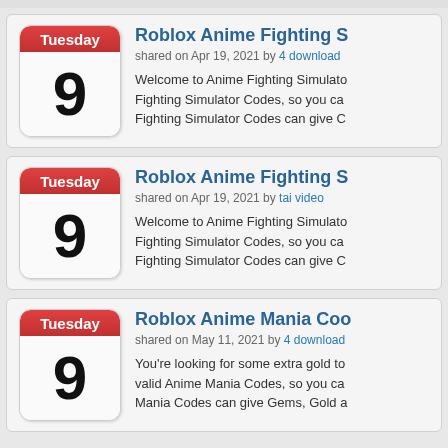[Figure (screenshot): List of blog/article cards showing Roblox game codes. Each card has a calendar icon showing Tuesday the 9th, a title, metadata (date and author), and a short excerpt.]
Roblox Anime Fighting S…
shared on Apr 19, 2021 by 4 download
Welcome to Anime Fighting Simulato… Fighting Simulator Codes, so you ca… Fighting Simulator Codes can give C…
Roblox Anime Fighting S…
shared on Apr 19, 2021 by tai video
Welcome to Anime Fighting Simulato… Fighting Simulator Codes, so you ca… Fighting Simulator Codes can give C…
Roblox Anime Mania Coo…
shared on May 11, 2021 by 4 download
You're looking for some extra gold to… valid Anime Mania Codes, so you ca… Mania Codes can give Gems, Gold a…